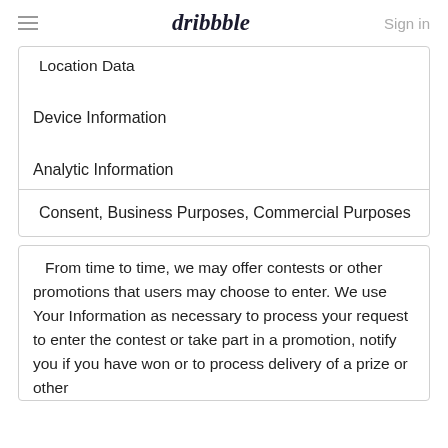dribbble   Sign in
Location Data
Device Information
Analytic Information
Consent, Business Purposes, Commercial Purposes
From time to time, we may offer contests or other promotions that users may choose to enter. We use Your Information as necessary to process your request to enter the contest or take part in a promotion, notify you if you have won or to process delivery of a prize or other